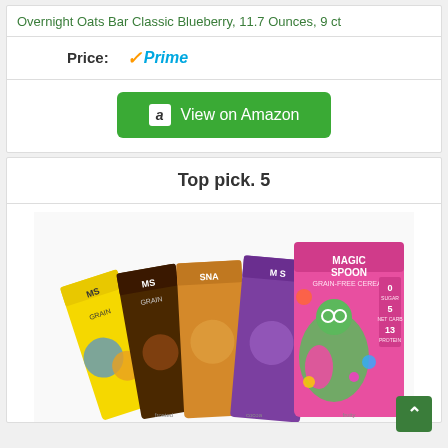Overnight Oats Bar Classic Blueberry, 11.7 Ounces, 9 ct
Price:
[Figure (logo): Amazon Prime badge with orange checkmark and blue Prime text]
[Figure (other): Green 'View on Amazon' button with Amazon icon]
Top pick. 5
[Figure (photo): Magic Spoon grain-free cereal boxes fanned out, colorful packaging with illustrated characters]
[Figure (other): Back to top arrow button, green square]